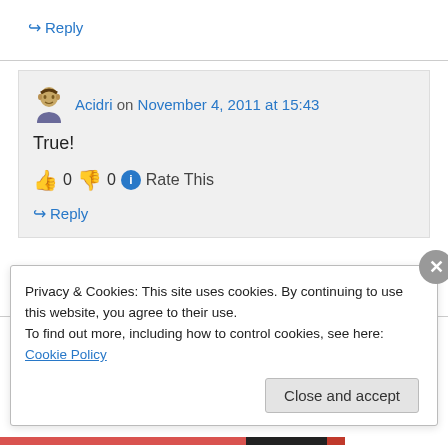↪ Reply
Acidri on November 4, 2011 at 15:43
True!
👍 0 👎 0 ℹ Rate This
↪ Reply
Privacy & Cookies: This site uses cookies. By continuing to use this website, you agree to their use. To find out more, including how to control cookies, see here: Cookie Policy
Close and accept